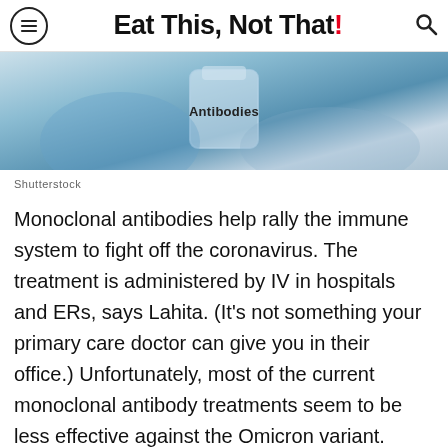Eat This, Not That!
[Figure (photo): Close-up of a medical vial or antibody solution being held, with the word 'Antibodies' overlaid on the image. Blue and white medical-themed photograph.]
Shutterstock
Monoclonal antibodies help rally the immune system to fight off the coronavirus. The treatment is administered by IV in hospitals and ERs, says Lahita. (It's not something your primary care doctor can give you in their office.) Unfortunately, most of the current monoclonal antibody treatments seem to be less effective against the Omicron variant. Fortunately, Omicron seems to cause less severe illness, making treatment less necessary.